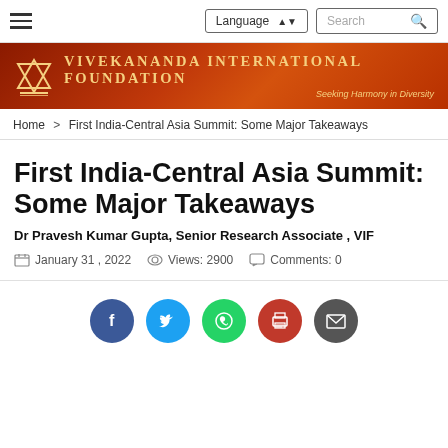Language | Search
[Figure (logo): Vivekananda International Foundation banner with logo and tagline 'Seeking Harmony in Diversity']
Home > First India-Central Asia Summit: Some Major Takeaways
First India-Central Asia Summit: Some Major Takeaways
Dr Pravesh Kumar Gupta, Senior Research Associate , VIF
January 31 , 2022   Views: 2900   Comments: 0
[Figure (infographic): Social sharing icons: Facebook, Twitter, WhatsApp, Print, Email]